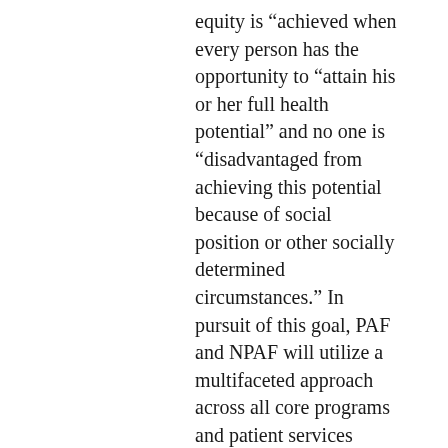equity is “achieved when every person has the opportunity to “attain his or her full health potential” and no one is “disadvantaged from achieving this potential because of social position or other socially determined circumstances.” In pursuit of this goal, PAF and NPAF will utilize a multifaceted approach across all core programs and patient services including case management, financial assistance, community engagement, patient education, and health services research. The strategy focuses on building capacity in partnership with community-based organizations to assess social needs gaps (i.e., specific social, financial and logistical barriers to care) and link people to safety net services and social needs navigation support that mitigates these barriers. Some work will focus on